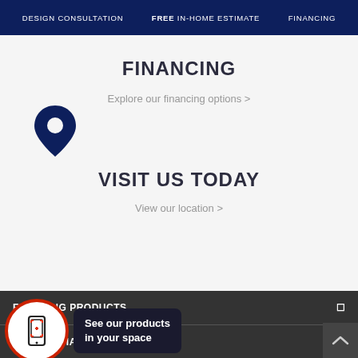DESIGN CONSULTATION | FREE IN-HOME ESTIMATE | FINANCING
FINANCING
Explore our financing options >
[Figure (illustration): Dark navy location pin / map marker icon]
VISIT US TODAY
View our location >
FLOORING PRODUCTS
[Figure (illustration): Circular AR icon with phone scanning QR code, orange-red ring border, with dark tooltip bubble saying 'See our products in your space']
COMMERCIAL FLOORING